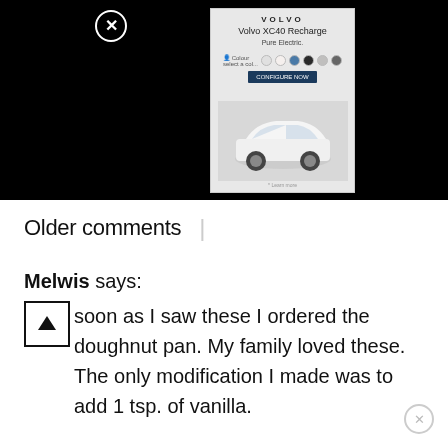[Figure (screenshot): Volvo XC40 Recharge advertisement overlay on black background. Shows car configurator with color swatches and a white SUV image. Close button (X in circle) visible top left of dark area.]
Older comments
Melwis says:
As soon as I saw these I ordered the doughnut pan. My family loved these. The only modification I made was to add 1 tsp. of vanilla.